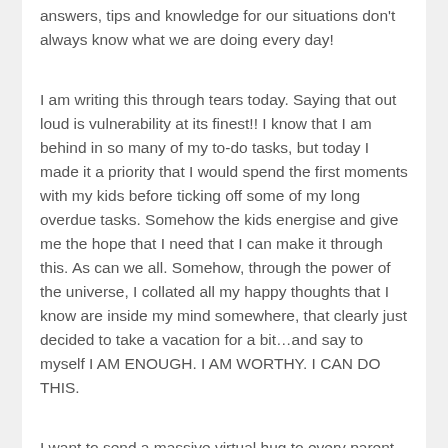answers, tips and knowledge for our situations don't always know what we are doing every day!
I am writing this through tears today. Saying that out loud is vulnerability at its finest!! I know that I am behind in so many of my to-do tasks, but today I made it a priority that I would spend the first moments with my kids before ticking off some of my long overdue tasks. Somehow the kids energise and give me the hope that I need that I can make it through this. As can we all. Somehow, through the power of the universe, I collated all my happy thoughts that I know are inside my mind somewhere, that clearly just decided to take a vacation for a bit…and say to myself I AM ENOUGH. I AM WORTHY. I CAN DO THIS.
I want to send a massive virtual hug to every parent